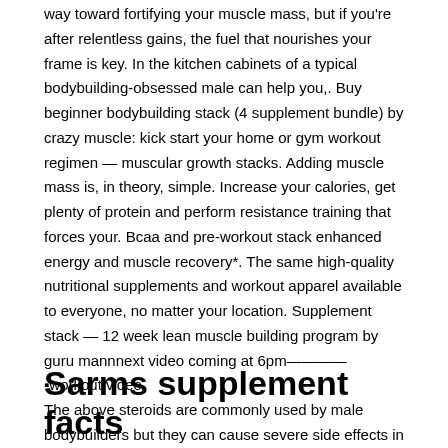way toward fortifying your muscle mass, but if you're after relentless gains, the fuel that nourishes your frame is key. In the kitchen cabinets of a typical bodybuilding-obsessed male can help you,. Buy beginner bodybuilding stack (4 supplement bundle) by crazy muscle: kick start your home or gym workout regimen — muscular growth stacks. Adding muscle mass is, in theory, simple. Increase your calories, get plenty of protein and perform resistance training that forces your. Bcaa and pre-workout stack enhanced energy and muscle recovery*. The same high-quality nutritional supplements and workout apparel available to everyone, no matter your location. Supplement stack — 12 week lean muscle building program by guru mannnext video coming at 6pm————▪workout video The above steroids are commonly used by male bodybuilders but they can cause severe side effects in women, these should be avoided if possible, sarms supplement world.
Sarms supplement facts